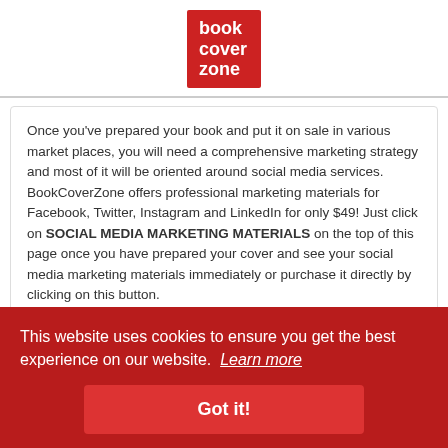[Figure (logo): BookCoverZone logo — red square with white text reading 'book cover zone' stacked on three lines]
Once you've prepared your book and put it on sale in various market places, you will need a comprehensive marketing strategy and most of it will be oriented around social media services. BookCoverZone offers professional marketing materials for Facebook, Twitter, Instagram and LinkedIn for only $49! Just click on SOCIAL MEDIA MARKETING MATERIALS on the top of this page once you have prepared your cover and see your social media marketing materials immediately or purchase it directly by clicking on this button.
This website uses cookies to ensure you get the best experience on our website. Learn more
Got it!